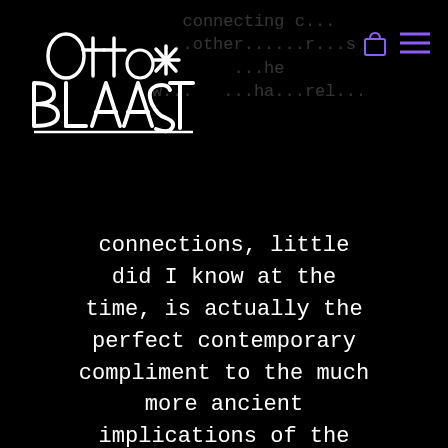[Figure (logo): Otto Blaast handwritten/graffiti style logo in white on black background]
[Figure (other): Shopping bag icon and hamburger menu icon in purple, top right corner]
connections, little did I know at the time, is actually the perfect contemporary compliment to the much more ancient implications of the term gold. Now, in retrospect, I've finally come to
...connecting c... ...other... ...the w...  ...ha...rel...